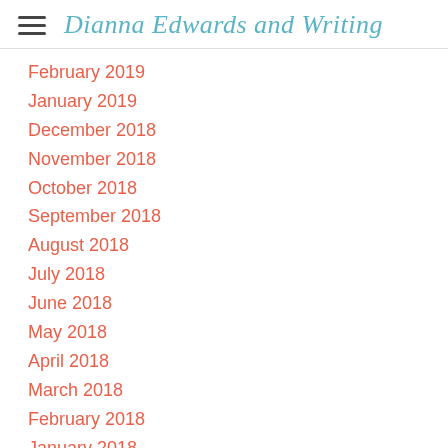Dianna Edwards and Writing
February 2019
January 2019
December 2018
November 2018
October 2018
September 2018
August 2018
July 2018
June 2018
May 2018
April 2018
March 2018
February 2018
January 2018
December 2017
November 2017
October 2017